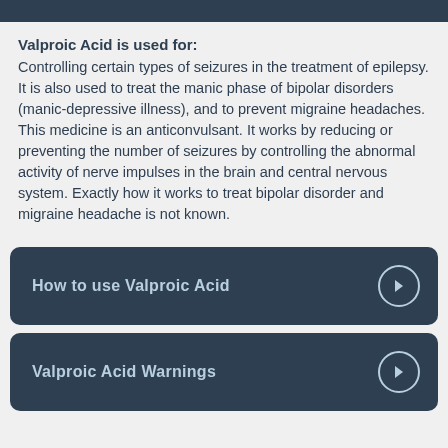Valproic Acid is used for:
Controlling certain types of seizures in the treatment of epilepsy. It is also used to treat the manic phase of bipolar disorders (manic-depressive illness), and to prevent migraine headaches. This medicine is an anticonvulsant. It works by reducing or preventing the number of seizures by controlling the abnormal activity of nerve impulses in the brain and central nervous system. Exactly how it works to treat bipolar disorder and migraine headache is not known.
How to use Valproic Acid
Valproic Acid Warnings